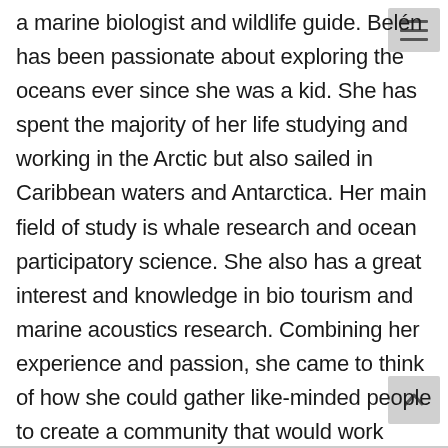a marine biologist and wildlife guide. Belén has been passionate about exploring the oceans ever since she was a kid. She has spent the majority of her life studying and working in the Arctic but also sailed in Caribbean waters and Antarctica. Her main field of study is whale research and ocean participatory science. She also has a great interest and knowledge in bio tourism and marine acoustics research. Combining her experience and passion, she came to think of how she could gather like-minded people to create a community that would work together towards ocean conservation. One morning, over a cup of coffee in the cosy saloon of schooner Opal, Ocean Missions was born.